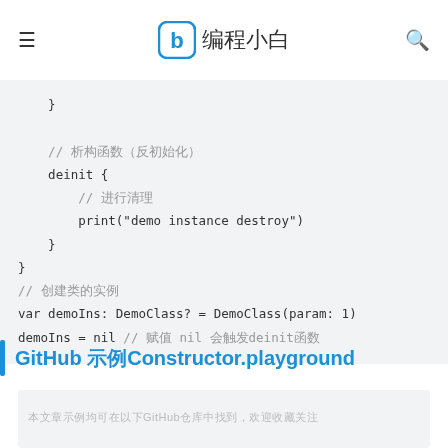编程小白
}

// 析构函数（反初始化）
deinit {
    // 进行清理
    print("demo instance destroy")
}
}
// 创建类的实例
var demoIns: DemoClass? = DemoClass(param: 1)
demoIns = nil // 赋值 nil 会触发deinit函数
GitHub 示例Constructor.playground
本文章示例均可在以下GitHub仓库中找到，欢迎收藏关注